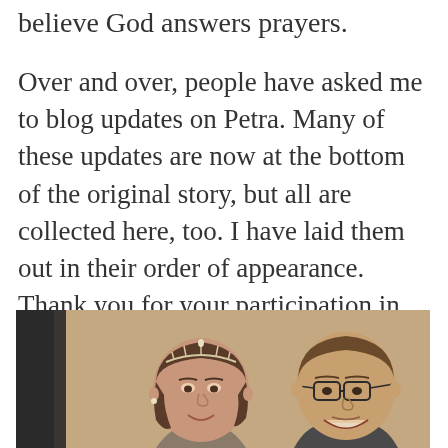believe God answers prayers.
Over and over, people have asked me to blog updates on Petra. Many of these updates are now at the bottom of the original story, but all are collected here, too. I have laid them out in their order of appearance. Thank you for your participation in our lives, across miles and oceans. We could not do it without you.
[Figure (photo): A woman wearing a tiara and a man wearing glasses, both smiling, photographed from the shoulders up against a warm brown background with a dark curtain visible on the left.]